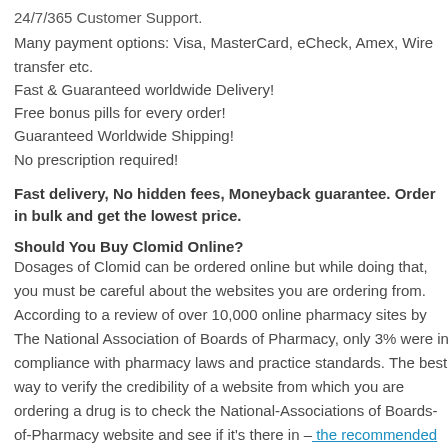24/7/365 Customer Support.
Many payment options: Visa, MasterCard, eCheck, Amex, Wire transfer etc.
Fast & Guaranteed worldwide Delivery!
Free bonus pills for every order!
Guaranteed Worldwide Shipping!
No prescription required!
Fast delivery, No hidden fees, Moneyback guarantee. Order in bulk and get the lowest price.
Should You Buy Clomid Online?
Dosages of Clomid can be ordered online but while doing that, you must be careful about the websites you are ordering from. According to a review of over 10,000 online pharmacy sites by The National Association of Boards of Pharmacy, only 3% were in compliance with pharmacy laws and practice standards. The best way to verify the credibility of a website from which you are ordering a drug is to check the National-Associations of Boards-of-Pharmacy website and see if it's there in – the recommended sites list.
CLOMID Online Cash on Delivery